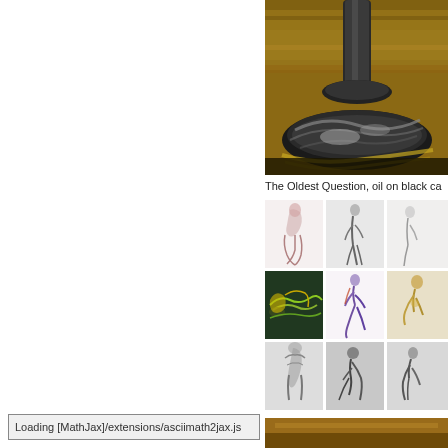[Figure (photo): Painting of a dark metallic candelabra or trophy base on a warm brown/golden background, oil on black canvas, partially cropped at top]
The Oldest Question, oil on black ca...
[Figure (photo): Grid of 9 figure drawings/sketches showing nude figure studies in various media including pencil, charcoal, and color media. Three rows of three images each showing seated, standing, reclining, and crouching poses.]
[Figure (photo): Bottom portion of another painting showing warm golden/brown tones, partially visible]
Loading [MathJax]/extensions/asciimath2jax.js